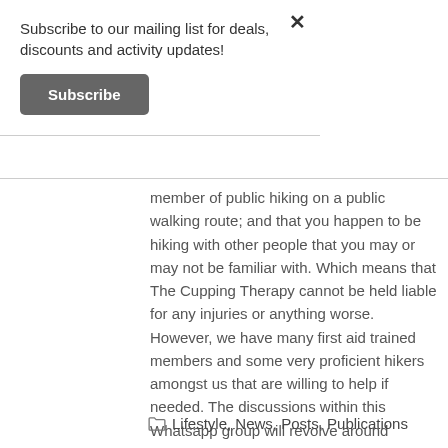Subscribe to our mailing list for deals, discounts and activity updates!
Subscribe
member of public hiking on a public walking route; and that you happen to be hiking with other people that you may or may not be familiar with. Which means that The Cupping Therapy cannot be held liable for any injuries or anything worse. However, we have many first aid trained members and some very proficient hikers amongst us that are willing to help if needed. The discussions within this Whatsapp group will revolve around making it as safe as possible for all the participants – so please put forward any questions to the Whatsapp group.
Lifestyle, News, Posts, Publications